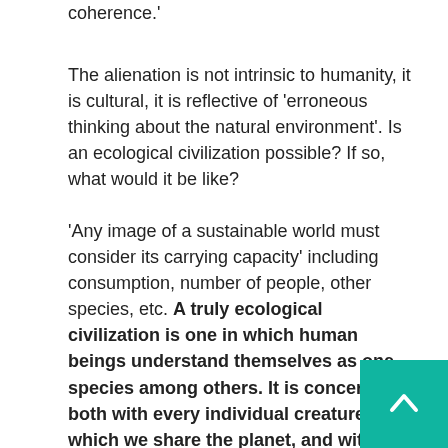coherence.'
The alienation is not intrinsic to humanity, it is cultural, it is reflective of 'erroneous thinking about the natural environment'. Is an ecological civilization possible? If so, what would it be like?
'Any image of a sustainable world must consider its carrying capacity' including consumption, number of people, other species, etc. 'A truly ecological civilization is one in which human beings understand themselves as one species among others. It is concerned both with every individual creature with which we share the planet, and with the ecosystem as a whole. It will give a great deal of attention to what we eat and how we produce it. And at every step it will consider how that which contributes to sustainability can also contribute to personal enjoyment and social well being.' (28)